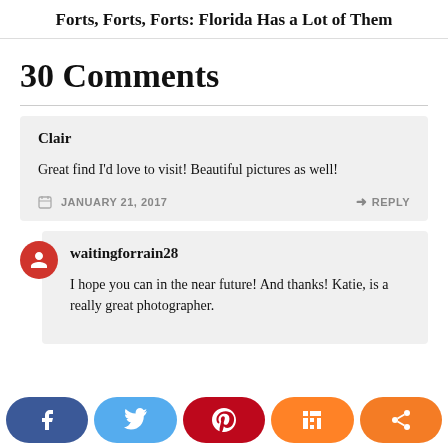Forts, Forts, Forts: Florida Has a Lot of Them
30 Comments
Clair
Great find I'd love to visit! Beautiful pictures as well!
JANUARY 21, 2017  REPLY
waitingforrain28
I hope you can in the near future! And thanks! Katie, is a really great photographer.